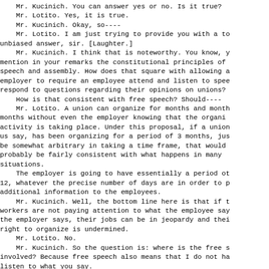Mr. Kucinich. You can answer yes or no. Is it true?
    Mr. Lotito. Yes, it is true.
    Mr. Kucinich. Okay, so----
    Mr. Lotito. I am just trying to provide you with a to unbiased answer, sir. [Laughter.]
    Mr. Kucinich. I think that is noteworthy. You know, y mention in your remarks the constitutional principles of speech and assembly. How does that square with allowing a employer to require an employee attend and listen to spee respond to questions regarding their opinions on unions?
    How is that consistent with free speech? Should----
    Mr. Lotito. A union can organize for months and month months without even the employer knowing that the organi activity is taking place. Under this proposal, if a union us say, has been organizing for a period of 3 months, jus be somewhat arbitrary in taking a time frame, that would probably be fairly consistent with what happens in many situations.
    The employer is going to have essentially a period ot 12, whatever the precise number of days are in order to p additional information to the employees.
    Mr. Kucinich. Well, the bottom line here is that if t workers are not paying attention to what the employee say the employer says, their jobs can be in jeopardy and thei right to organize is undermined.
    Mr. Lotito. No.
    Mr. Kucinich. So the question is: where is the free s involved? Because free speech also means that I do not ha listen to what you say.
    Mr. Lotito. That is correct.